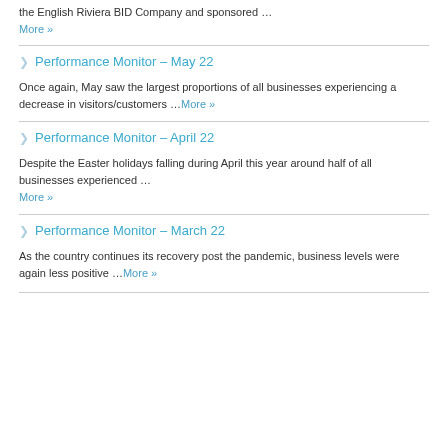the English Riviera BID Company and sponsored … More »
Performance Monitor – May 22
Once again, May saw the largest proportions of all businesses experiencing a decrease in visitors/customers …More »
Performance Monitor – April 22
Despite the Easter holidays falling during April this year around half of all businesses experienced … More »
Performance Monitor – March 22
As the country continues its recovery post the pandemic, business levels were again less positive …More »